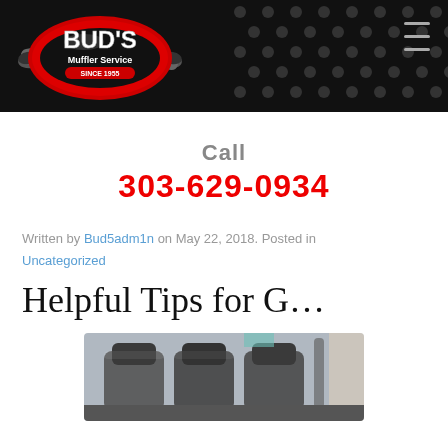[Figure (logo): Bud's Muffler Service logo on dark header with dot grid pattern]
Call
303-629-0934
Written by Bud5adm1n on May 22, 2018. Posted in Uncategorized
Helpful Tips for G…
[Figure (photo): Car interior showing seats and headrests]